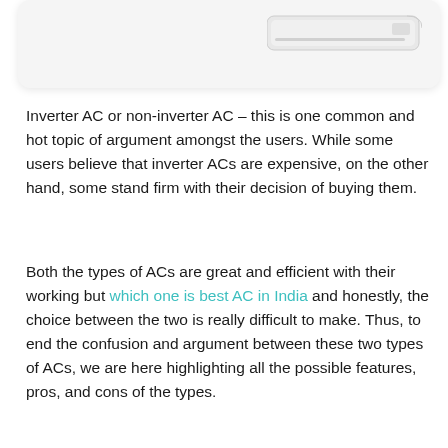[Figure (photo): White air conditioner unit shown against a white rounded rectangle card background]
Inverter AC or non-inverter AC – this is one common and hot topic of argument amongst the users. While some users believe that inverter ACs are expensive, on the other hand, some stand firm with their decision of buying them.
Both the types of ACs are great and efficient with their working but which one is best AC in India and honestly, the choice between the two is really difficult to make. Thus, to end the confusion and argument between these two types of ACs, we are here highlighting all the possible features, pros, and cons of the types.